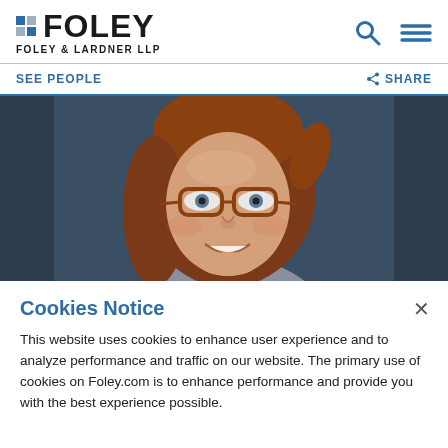[Figure (logo): Foley & Lardner LLP logo with blue grid squares and bold FOLEY text]
SEE PEOPLE
SHARE
[Figure (photo): Professional headshot of a woman with red/auburn hair, glasses with tortoiseshell frames, smiling, against a dark blue-gray background]
Cookies Notice
This website uses cookies to enhance user experience and to analyze performance and traffic on our website. The primary use of cookies on Foley.com is to enhance performance and provide you with the best experience possible.